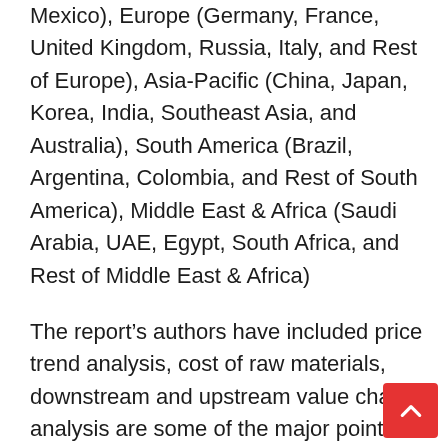Mexico), Europe (Germany, France, United Kingdom, Russia, Italy, and Rest of Europe), Asia-Pacific (China, Japan, Korea, India, Southeast Asia, and Australia), South America (Brazil, Argentina, Colombia, and Rest of South America), Middle East & Africa (Saudi Arabia, UAE, Egypt, South Africa, and Rest of Middle East & Africa)
The report’s authors have included price trend analysis, cost of raw materials, downstream and upstream value chain analysis are some of the major pointers used to forecast the global Nucleic Acid​Based Diagnostic market scenario for individual countries. Also, the presence and availability of global brands and their challenges faced by local and domestic brands are considered while providing forecast